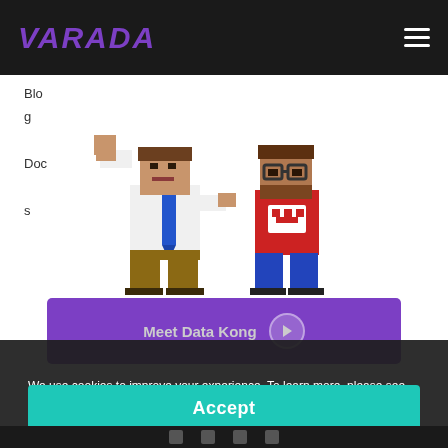VARADA
Blo
g
Docs
[Figure (illustration): Two pixel-art characters: one in a white shirt with blue tie flexing, one in a red shirt with glasses]
Meet Data Kong
We use cookies to improve your experience. To learn more, please see our Privacy Policy
Accept